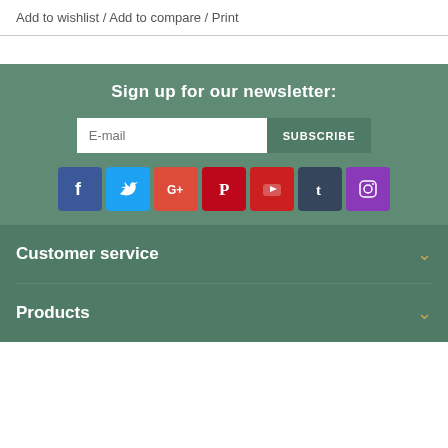Add to wishlist / Add to compare / Print
Sign up for our newsletter:
E-mail
SUBSCRIBE
[Figure (infographic): Social media icons row: Facebook, Twitter, Google+, Pinterest, YouTube, Tumblr, Instagram]
Customer service
Products